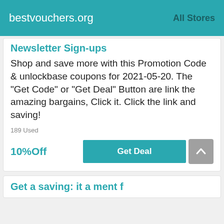bestvouchers.org   All Stores
Newsletter Sign-ups
Shop and save more with this Promotion Code & unlockbase coupons for 2021-05-20. The "Get Code" or "Get Deal" Button are link the amazing bargains, Click it. Click the link and saving!
189 Used
10%Off
Get Deal
Get a saving: it a ment f